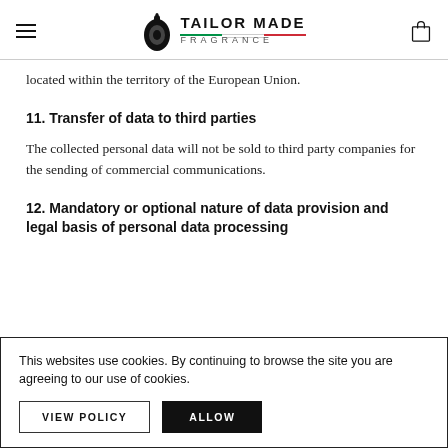Tailor Made Fragrance
located within the territory of the European Union.
11. Transfer of data to third parties
The collected personal data will not be sold to third party companies for the sending of commercial communications.
12. Mandatory or optional nature of data provision and legal basis of personal data processing
This websites use cookies. By continuing to browse the site you are agreeing to our use of cookies.